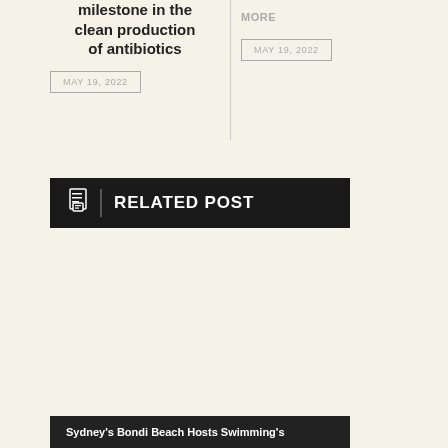milestone in the clean production of antibiotics
MAY 19, 2022
MORE
MAY 19, 2022
RELATED POST
Sydney's Bondi Beach Hosts Swimming's